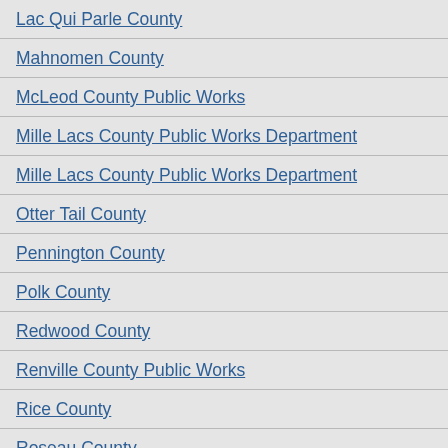Lac Qui Parle County
Mahnomen County
McLeod County Public Works
Mille Lacs County Public Works Department
Mille Lacs County Public Works Department
Otter Tail County
Pennington County
Polk County
Redwood County
Renville County Public Works
Rice County
Roseau County
Scott County Highway Department
Sherburne County
Steele County Highway Department
Waseca County
Wright county
| Project No. | Co... |
| --- | --- |
| J1037-2-2022 | 1... |
View full list of pr...
Cottonwood
| Project No. | Co... |
| --- | --- |
| 017-592-001 | 20... |
View full list of pr...